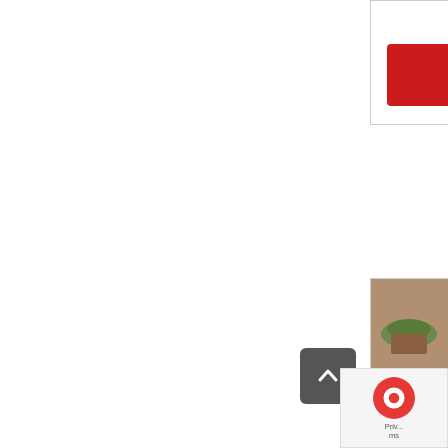Yo9S-W
Ask for inquiry
[Figure (photo): Portable wood-fired outdoor pizza oven, stainless steel construction with chimney pipe, side door open showing interior, photographed on concrete ground with plants in background]
Portable Wood-Fired Outdoor Pizza
SKU: PO-Ro3D-W
Ask for inquiry